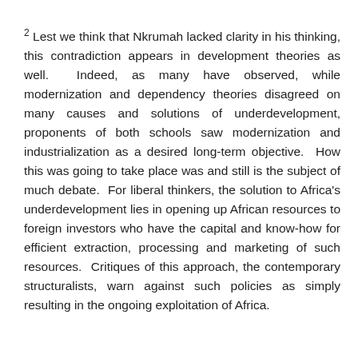2 Lest we think that Nkrumah lacked clarity in his thinking, this contradiction appears in development theories as well. Indeed, as many have observed, while modernization and dependency theories disagreed on many causes and solutions of underdevelopment, proponents of both schools saw modernization and industrialization as a desired long-term objective. How this was going to take place was and still is the subject of much debate. For liberal thinkers, the solution to Africa's underdevelopment lies in opening up African resources to foreign investors who have the capital and know-how for efficient extraction, processing and marketing of such resources. Critiques of this approach, the contemporary structuralists, warn against such policies as simply resulting in the ongoing exploitation of Africa.